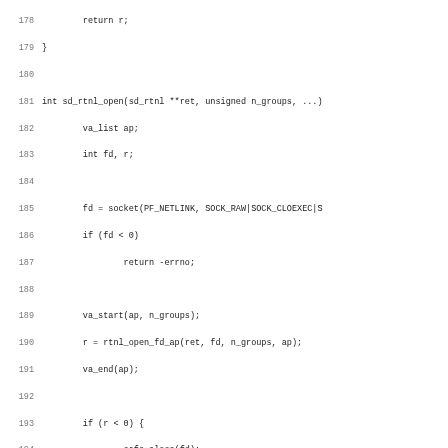[Figure (screenshot): Source code listing showing C functions sd_rtnl_open, sd_rtnl_inc_rcvbuf, and sd_rtnl_ref, with line numbers 178-210.]